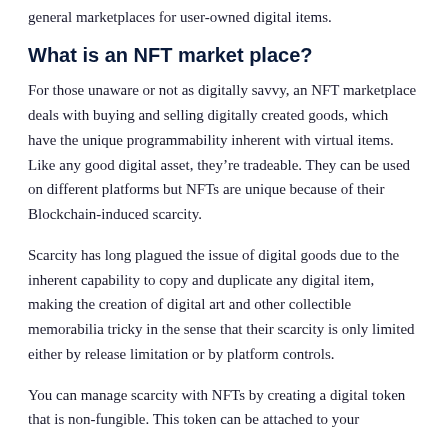general marketplaces for user-owned digital items.
What is an NFT market place?
For those unaware or not as digitally savvy, an NFT marketplace deals with buying and selling digitally created goods, which have the unique programmability inherent with virtual items. Like any good digital asset, they’re tradeable. They can be used on different platforms but NFTs are unique because of their Blockchain-induced scarcity.
Scarcity has long plagued the issue of digital goods due to the inherent capability to copy and duplicate any digital item, making the creation of digital art and other collectible memorabilia tricky in the sense that their scarcity is only limited either by release limitation or by platform controls.
You can manage scarcity with NFTs by creating a digital token that is non-fungible. This token can be attached to your